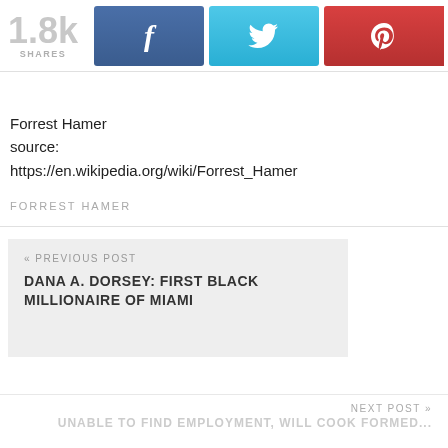[Figure (infographic): Social share bar showing 1.8k shares with Facebook, Twitter, and Pinterest buttons]
Forrest Hamer
source:
https://en.wikipedia.org/wiki/Forrest_Hamer
FORREST HAMER
« PREVIOUS POST
DANA A. DORSEY: FIRST BLACK MILLIONAIRE OF MIAMI
NEXT POST »
UNABLE TO FIND EMPLOYMENT, WILL COOK FORMED...